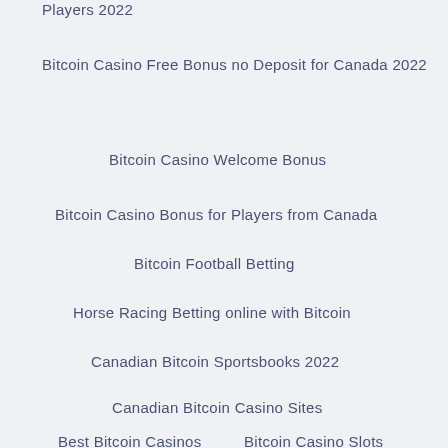Players 2022
Bitcoin Casino Free Bonus no Deposit for Canada 2022
Bitcoin Casino Welcome Bonus
Bitcoin Casino Bonus for Players from Canada
Bitcoin Football Betting
Horse Racing Betting online with Bitcoin
Canadian Bitcoin Sportsbooks 2022
Canadian Bitcoin Casino Sites
Best Bitcoin Casinos
Bitcoin Casino Slots